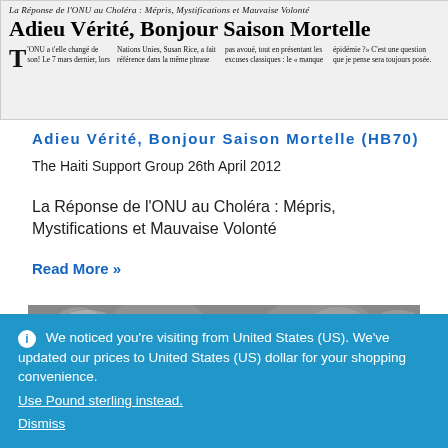[Figure (screenshot): Newspaper article header image showing masthead with title 'Adieu Vérité, Bonjour Saison Mortelle' and subtitle 'La Réponse de l'ONU au Choléra : Mépris, Mystifications et Mauvaise Volonté' with four-column text below]
Adieu Vérité, Bonjour Saison Mortelle (HB70)
The Haiti Support Group 26th April 2012
La Réponse de l'ONU au Choléra : Mépris, Mystifications et Mauvaise Volonté
Read More »
[Figure (photo): Grayscale photograph showing plant foliage or leaves]
We noticed you're visiting from United States (US). We've updated our prices to United States (US) dollar for your shopping convenience.
Use Pound sterling instead.
Dismiss